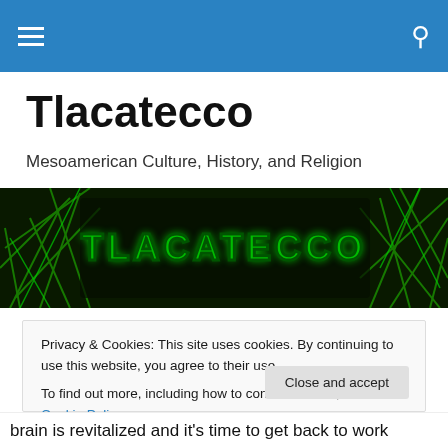Tlacatecco [navigation bar with hamburger menu and search icon]
Tlacatecco
Mesoamerican Culture, History, and Religion
[Figure (illustration): Dark banner image with bright green digital/jungle foliage texture and the text TLACATECCO in large green futuristic font on a black background]
Privacy & Cookies: This site uses cookies. By continuing to use this website, you agree to their use.
To find out more, including how to control cookies, see here: Cookie Policy
brain is revitalized and it's time to get back to work